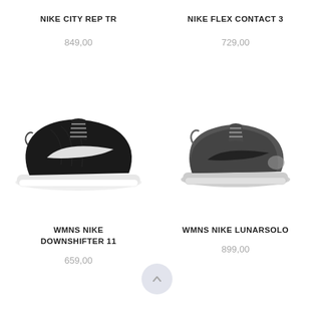NIKE CITY REP TR
849,00
NIKE FLEX CONTACT 3
729,00
[Figure (photo): Black and white Nike sneaker (WMNS Nike Downshifter 11) viewed from the side, black upper with white swoosh and white sole]
[Figure (photo): Dark grey Nike sneaker (WMNS Nike Lunarsolo) viewed from the side, dark upper with black swoosh and light grey sole]
WMNS NIKE DOWNSHIFTER 11
659,00
WMNS NIKE LUNARSOLO
899,00